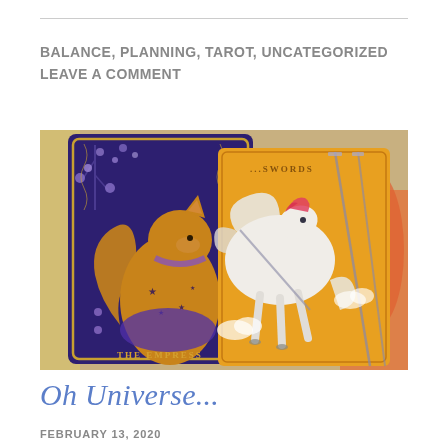BALANCE, PLANNING, TAROT, UNCATEGORIZED
LEAVE A COMMENT
[Figure (photo): Two tarot cards propped up: left card shows 'THE EMPRESS' with a golden fox/squirrel on a purple background with flowers and stars; right card shows a white Pegasus on a yellow background with swords, partially reading '...SWORDS'. Background shows desk items and a colorful mug.]
Oh Universe...
FEBRUARY 13, 2020